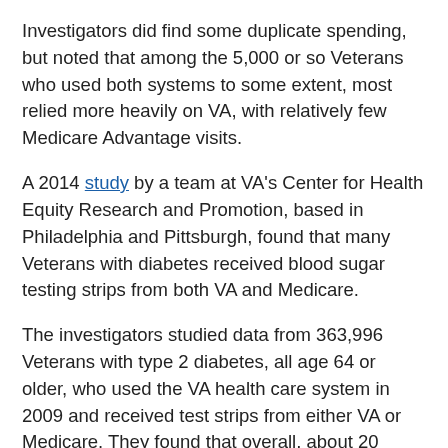Investigators did find some duplicate spending, but noted that among the 5,000 or so Veterans who used both systems to some extent, most relied more heavily on VA, with relatively few Medicare Advantage visits.
A 2014 study by a team at VA's Center for Health Equity Research and Promotion, based in Philadelphia and Pittsburgh, found that many Veterans with diabetes received blood sugar testing strips from both VA and Medicare.
The investigators studied data from 363,996 Veterans with type 2 diabetes, all age 64 or older, who used the VA health care system in 2009 and received test strips from either VA or Medicare. They found that overall, about 20 percent of the 157 million strips dispensed to all the Veterans were possibly unnecessary.
On average, they found, 72 percent of the Veterans studied received an average of 200 strips from VA; 23 percent